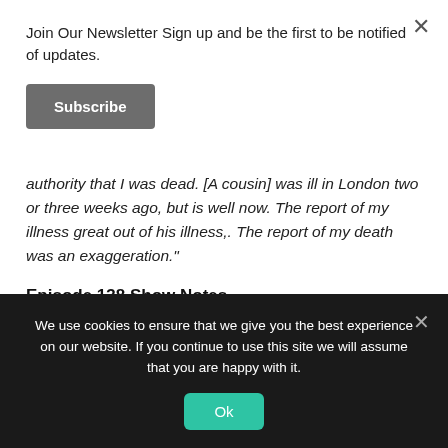Join Our Newsletter Sign up and be the first to be notified of updates.
Subscribe
authority that I was dead. [A cousin] was ill in London two or three weeks ago, but is well now. The report of my illness great out of his illness,. The report of my death was an exaggeration."
Episode 138 Show Notes
askMTJC: https://twitter.com/WarningZ_iOSApp/status/848858040
We use cookies to ensure that we give you the best experience on our website. If you continue to use this site we will assume that you are happy with it.
Ok